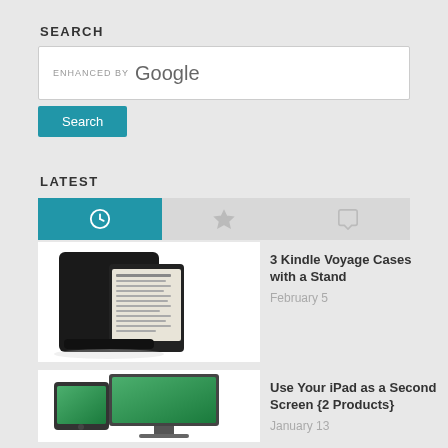SEARCH
[Figure (screenshot): Google enhanced search box with 'ENHANCED BY Google' text and a Search button below]
LATEST
[Figure (infographic): Tab bar with three tabs: clock icon (active, teal), star icon, and speech bubble icon]
[Figure (photo): Kindle Voyage in a black stand case]
3 Kindle Voyage Cases with a Stand
February 5
[Figure (photo): iPad next to an iMac showing dual-screen setup]
Use Your iPad as a Second Screen {2 Products}
January 13